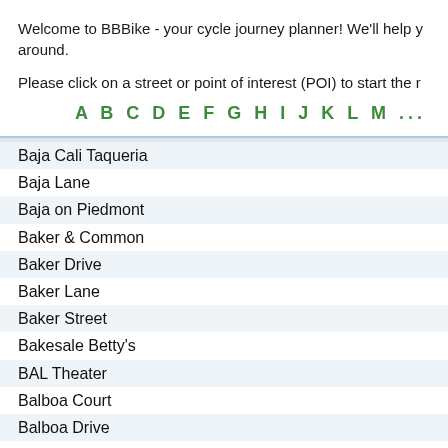Welcome to BBBike - your cycle journey planner! We'll help you get around.
Please click on a street or point of interest (POI) to start the route.
A B C D E F G H I J K L M ...
Baja Cali Taqueria
Baja Lane
Baja on Piedmont
Baker & Common
Baker Drive
Baker Lane
Baker Street
Bakesale Betty's
BAL Theater
Balboa Court
Balboa Drive
Balboa Park Baptist Church
Balboa School
Baldwin Avenue
Baldwin Court
Baldwin Drive
Baldwin Lane